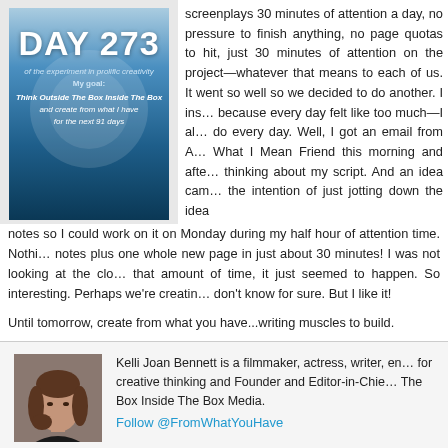[Figure (illustration): Blue gradient book/blog image for 'DAY 273 of the experiment in prolific creativity. My goal: Think Outside The Box Inside The Box and create from what I have for the next 91 days']
screenplays 30 minutes of attention a day, no pressure to finish anything, no page quotas to hit, just 30 minutes of attention on the project—whatever that means to each of us. It went so well so we decided to do another. I instigated a 5 day one because every day felt like too much—I already had too much to do every day. Well, I got an email from A You Know What I Mean Friend this morning and after reading it, I found myself thinking about my script. And an idea came and I sat down with the intention of just jotting down the idea into some notes so I could work on it on Monday during my half hour of attention time. Nothing but good notes plus one whole new page in just about 30 minutes! I was not looking at the clock, or trying to hit that amount of time, it just seemed to happen. So interesting. Perhaps we're creating habits. I don't know for sure. But I like it!
Until tomorrow, create from what you have...writing muscles to build.
[Figure (photo): Headshot photo of Kelli Joan Bennett, a woman with brown hair, wearing a dark top]
Kelli Joan Bennett is a filmmaker, actress, writer, entrepreneur, advocate for creative thinking and Founder and Editor-in-Chief of Think Outside The Box Inside The Box Media.
Follow @FromWhatYouHave